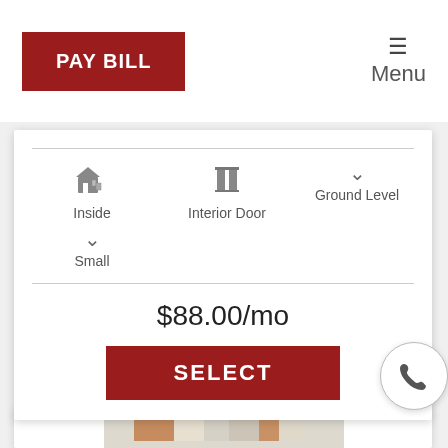[Figure (screenshot): PAY BILL button on top left navigation bar]
Menu
Inside   Interior Door   Ground Level
Small
$88.00/mo
[Figure (screenshot): SELECT button in dark red]
[Figure (photo): 3D render of storage unit interior with furniture]